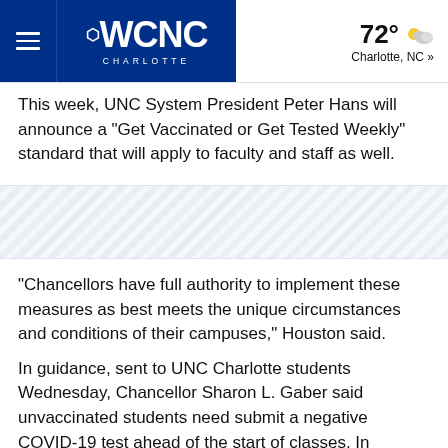WCNC Charlotte — 72° Charlotte, NC »
This week, UNC System President Peter Hans will announce a "Get Vaccinated or Get Tested Weekly" standard that will apply to faculty and staff as well.
[Figure (other): Diagonal stripe decorative separator section]
"Chancellors have full authority to implement these measures as best meets the unique circumstances and conditions of their campuses," Houston said.
In guidance, sent to UNC Charlotte students Wednesday, Chancellor Sharon L. Gaber said unvaccinated students need submit a negative COVID-19 test ahead of the start of classes. In addition, these students are required to complete weekly COVID-19 surveillance testing. Students living in residence halls will also be required to participate